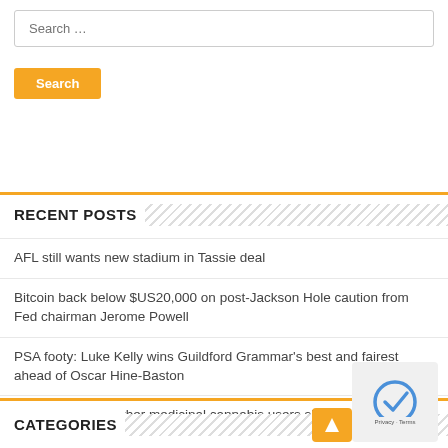Search ...
Search
RECENT POSTS
AFL still wants new stadium in Tassie deal
Bitcoin back below $US20,000 on post-Jackson Hole caution from Fed chairman Jerome Powell
PSA footy: Luke Kelly wins Guildford Grammar's best and fairest ahead of Oscar Hine-Baston
Qld to decide whether medicinal cannabis users should be able to drive
St Luke's College's wellbeing week focuses on college students' mental health and breaking down stigma
CATEGORIES